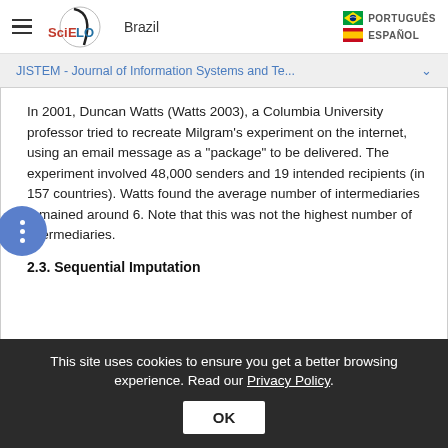SciELO Brazil — PORTUGUÊS / ESPAÑOL
JISTEM - Journal of Information Systems and Te...
In 2001, Duncan Watts (Watts 2003), a Columbia University professor tried to recreate Milgram's experiment on the internet, using an email message as a "package" to be delivered. The experiment involved 48,000 senders and 19 intended recipients (in 157 countries). Watts found the average number of intermediaries remained around 6. Note that this was not the highest number of intermediaries.
2.3. Sequential Imputation
This site uses cookies to ensure you get a better browsing experience. Read our Privacy Policy.